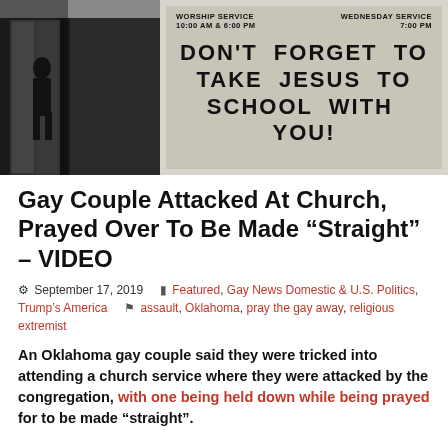[Figure (photo): A church sign reading 'DON'T FORGET TO TAKE JESUS TO SCHOOL WITH YOU!' with worship service times, next to a dark entrance with a silhouette of a person.]
Gay Couple Attacked At Church, Prayed Over To Be Made “Straight” – VIDEO
September 17, 2019   Featured, Gay News Domestic & U.S. Politics, Trump's America   assault, Oklahoma, pray the gay away, religious extremist
An Oklahoma gay couple said they were tricked into attending a church service where they were attacked by the congregation, with one being held down while being prayed for to be made “straight”.